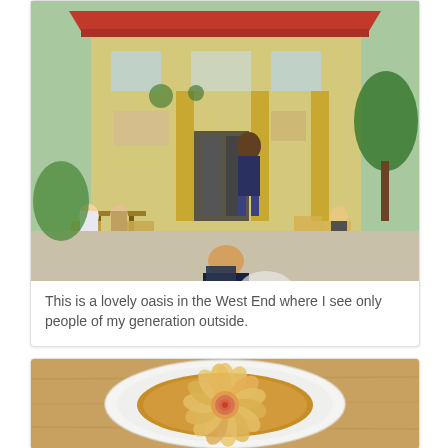[Figure (photo): Outdoor patio of a cafe or restaurant in the West End. A yellow building with a red awning. People are seated at tables outside. A man in a dark t-shirt and shorts sits in the foreground viewing a menu. Trees and greenery surround the area.]
This is a lovely oasis in the West End where I see only people of my generation outside.
[Figure (photo): A food photo showing a tart or pie on a white plate. The tart features thinly sliced apples arranged in a rose/spiral pattern with a rolled apple rose in the center, dusted with spices. The plate sits on a wooden table surface.]